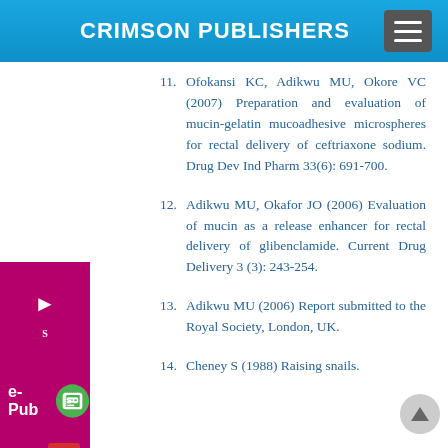CRIMSON PUBLISHERS
11. Ofokansi KC, Adikwu MU, Okore VC (2007) Preparation and evaluation of mucin-gelatin mucoadhesive microspheres for rectal delivery of ceftriaxone sodium. Drug Dev Ind Pharm 33(6): 691-700.
12. Adikwu MU, Okafor JO (2006) Evaluation of mucin as a release enhancer for rectal delivery of glibenclamide. Current Drug Delivery 3 (3): 243-254.
13. Adikwu MU (2006) Report submitted to the Royal Society, London, UK.
14. Cheney S (1988) Raising snails.